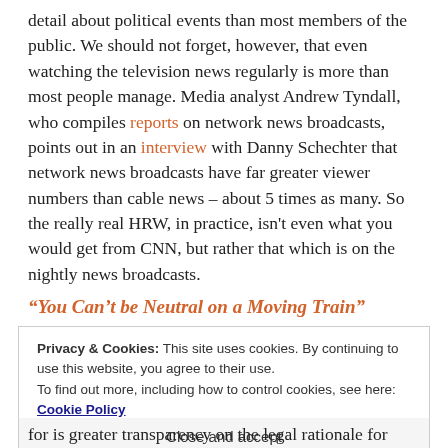detail about political events than most members of the public. We should not forget, however, that even watching the television news regularly is more than most people manage. Media analyst Andrew Tyndall, who compiles reports on network news broadcasts, points out in an interview with Danny Schechter that network news broadcasts have far greater viewer numbers than cable news – about 5 times as many. So the really real HRW, in practice, isn't even what you would get from CNN, but rather that which is on the nightly news broadcasts.
“You Can’t be Neutral on a Moving Train”
Privacy & Cookies: This site uses cookies. By continuing to use this website, you agree to their use.
To find out more, including how to control cookies, see here: Cookie Policy
Close and accept
for is greater transparency on the legal rationale for